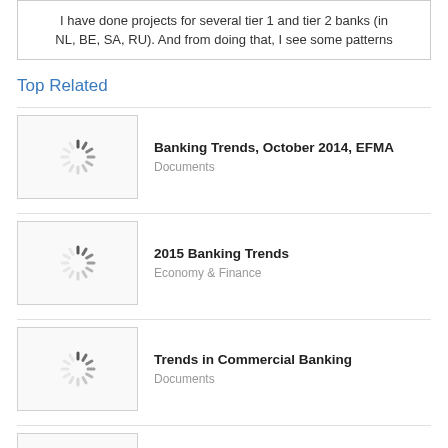I have done projects for several tier 1 and tier 2 banks (in NL, BE, SA, RU). And from doing that, I see some patterns
Top Related
Banking Trends, October 2014, EFMA
Documents
2015 Banking Trends
Economy & Finance
Trends in Commercial Banking
Documents
Banking Trends in Vietnam Rese · PDF fi...
Documents